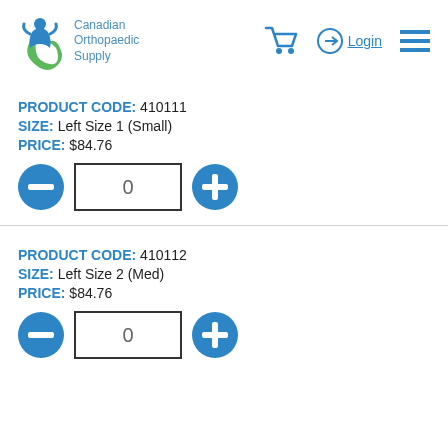Canadian Orthopaedic Supply — Login — Menu
PRODUCT CODE: 410111
SIZE: Left Size 1 (Small)
PRICE: $84.76
PRODUCT CODE: 410112
SIZE: Left Size 2 (Med)
PRICE: $84.76